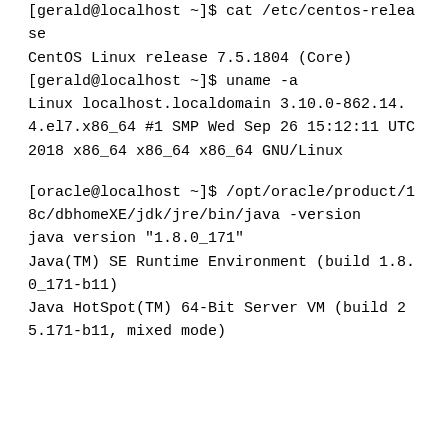[gerald@localhost ~]$ cat /etc/centos-release
CentOS Linux release 7.5.1804 (Core)
[gerald@localhost ~]$ uname -a
Linux localhost.localdomain 3.10.0-862.14.4.el7.x86_64 #1 SMP Wed Sep 26 15:12:11 UTC 2018 x86_64 x86_64 x86_64 GNU/Linux
[oracle@localhost ~]$ /opt/oracle/product/18c/dbhomeXE/jdk/jre/bin/java -version
java version "1.8.0_171"
Java(TM) SE Runtime Environment (build 1.8.0_171-b11)
Java HotSpot(TM) 64-Bit Server VM (build 25.171-b11, mixed mode)